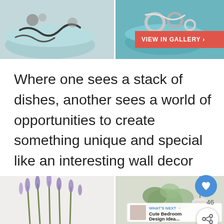[Figure (photo): Two-panel photo strip showing blue bowls with jewelry and accessories on a white surface. Left panel shows bowls with chains and bracelets, right panel shows similar setup. Red 'VIEW IN GALLERY >' button overlaid on upper-right.]
Where one sees a stack of dishes, another sees a world of opportunities to create something unique and special like an interesting wall decor installation or a jewelry organizer like the one described on confessionsofaserialdiyer. This is the type of project anyone can do.
[Figure (photo): Two-panel photo strip at bottom. Left panel shows lavender/purple flowers against white wall. Right panel shows green leafy plant with white pendant light. 'WHAT'S NEXT → Cute Bedroom Design Idea...' overlay box at bottom right.]